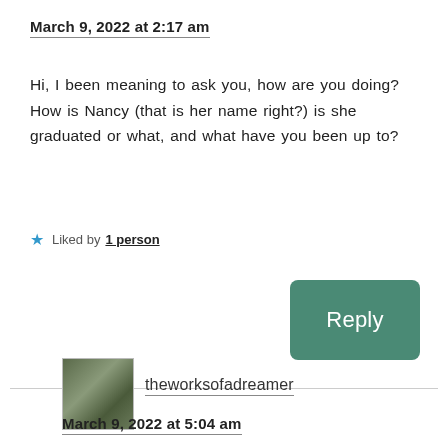March 9, 2022 at 2:17 am
Hi, I been meaning to ask you, how are you doing? How is Nancy (that is her name right?) is she graduated or what, and what have you been up to?
★ Liked by 1 person
Reply
theworksofadreamer
March 9, 2022 at 5:04 am